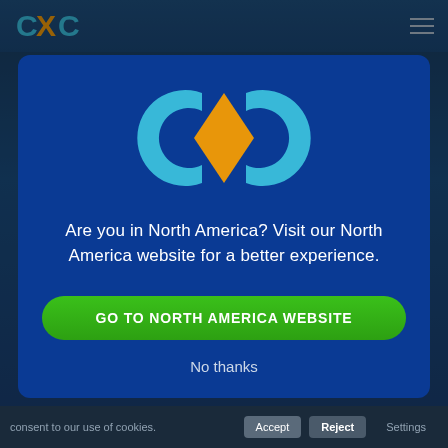[Figure (logo): CXC logo in top navigation bar with teal C and X letters]
[Figure (logo): CXC logo centered in modal dialog, large teal C and X letters with orange X center diamond]
Are you in North America? Visit our North America website for a better experience.
GO TO NORTH AMERICA WEBSITE
No thanks
consent to our use of cookies.
Accept
Reject
Settings